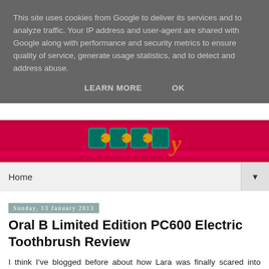This site uses cookies from Google to deliver its services and to analyze traffic. Your IP address and user-agent are shared with Google along with performance and security metrics to ensure quality of service, generate usage statistics, and to detect and address abuse.
LEARN MORE   OK
[Figure (illustration): Blog header banner with red/pink background and decorative logo text in teal/green and orange colors]
Home ▼
Sunday, 13 January 2013
Oral B Limited Edition PC600 Electric Toothbrush Review
I think I've blogged before about how Lara was finally scared into brushing her teeth when we introduced her to the concept of an electric toothrbush. At the time we gave her a disposable electric brush and we never replaced it but things have changed now and since Mummy and Daddy got their